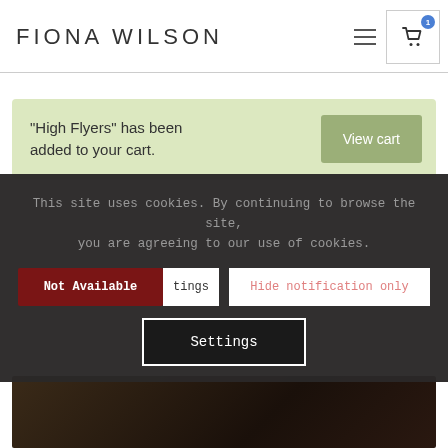FIONA WILSON
"High Flyers" has been added to your cart.
View cart
This site uses cookies. By continuing to browse the site, you are agreeing to our use of cookies.
Not Available
tings
Hide notification only
Settings